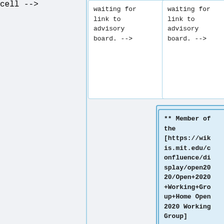waiting for link to advisory board. -->
waiting for link to advisory board. -->
** Member of the [https://wikis.mit.edu/confluence/display/open2020/Open+2020+Working+Group+Home Open 2020 Working Group]
<!-- since March 21, 2019 -->
** Member of the
** Member of the